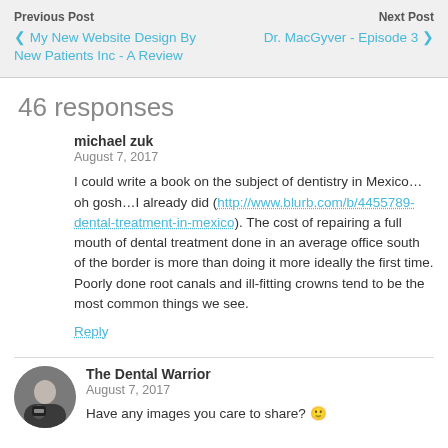Previous Post | Next Post | My New Website Design By New Patients Inc - A Review | Dr. MacGyver - Episode 3
46 responses
michael zuk
August 7, 2017

I could write a book on the subject of dentistry in Mexico…oh gosh…I already did (http://www.blurb.com/b/4455789-dental-treatment-in-mexico). The cost of repairing a full mouth of dental treatment done in an average office south of the border is more than doing it more ideally the first time. Poorly done root canals and ill-fitting crowns tend to be the most common things we see.
Reply
The Dental Warrior
August 7, 2017

Have any images you care to share? 🙂